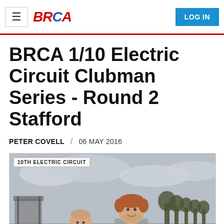BRCA — LOG IN
BRCA 1/10 Electric Circuit Clubman Series - Round 2 Stafford
PETER COVELL / 06 MAY 2016
[Figure (photo): Two men standing outdoors near a race circuit. A shorter older bald man on the left, a taller younger man with red hair wearing a grey GAP hoodie on the right. Overcast sky, trees and structures in background. Tag reading '10TH ELECTRIC CIRCUIT'.]